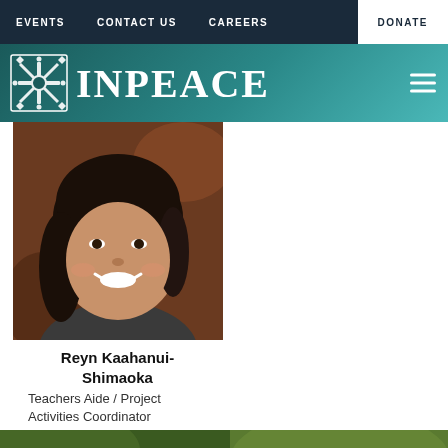EVENTS  CONTACT US  CAREERS  DONATE
[Figure (logo): INPEACE organization logo with decorative snowflake/cultural pattern icon and text INPEACE in large serif font on teal gradient background with hamburger menu]
[Figure (photo): Portrait photo of Reyn Kaahanui-Shimaoka, a smiling woman with dark hair wearing a gray jacket]
Reyn Kaahanui-Shimaoka
Teachers Aide / Project Activities Coordinator
[Figure (photo): Partial portrait photo of a woman with dark hair, bottom left]
[Figure (photo): Partial portrait photo of a woman with dark hair outdoors, bottom right]